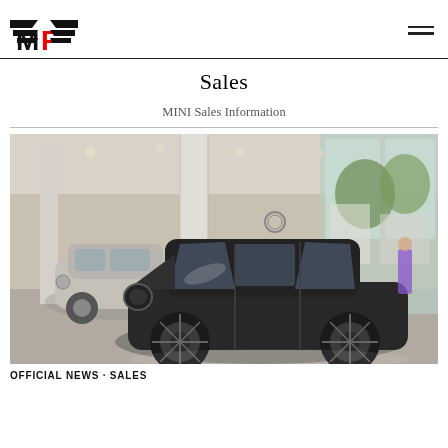MF logo and navigation menu
Sales
MINI Sales Information
[Figure (photo): MINI dealership showroom interior with a dark MINI Clubman JCW in the foreground and a silver MINI in the background, large glass windows showing outdoor trees and street]
OFFICIAL NEWS · SALES